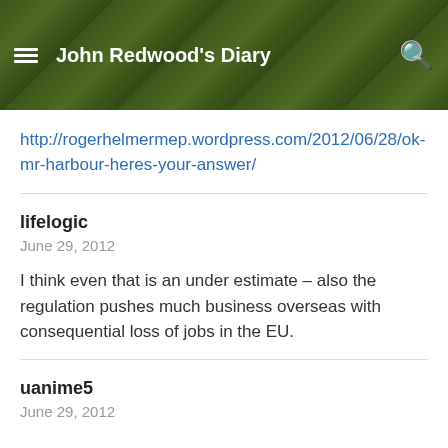John Redwood's Diary
http://rogerhelmermep.wordpress.com/2012/06/28/ok-mr-harbour-heres-your-answer/
lifelogic
June 29, 2012

I think even that is an under estimate – also the regulation pushes much business overseas with consequential loss of jobs in the EU.
uanime5
June 29, 2012